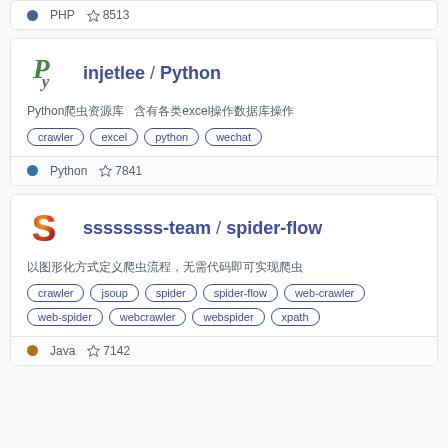PHP ☆8513
injetlee / Python
Python爬虫资源库 含有各类excel操作、数据库操作
crawler
excel
python
wechat
Python ☆7841
ssssssss-team / spider-flow
以图形化方式定义爬虫流程，无需代码即可实现爬虫
crawler
jsoup
spider
spider-flow
web-crawler
web-spider
webcrawler
webspider
xpath
Java ☆7142